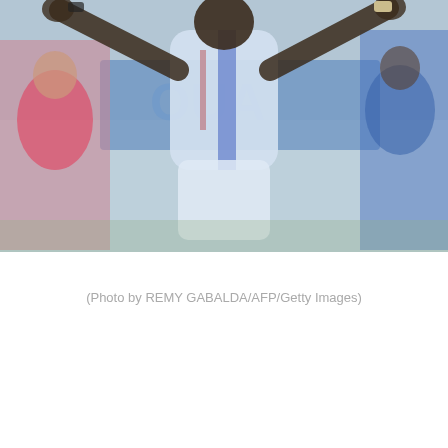[Figure (photo): A rugby player wearing a light blue and white jersey with arms raised, celebrating on a sports field. A referee in red/yellow is visible on the left. Blurred crowd and blue signage in the background.]
(Photo by REMY GABALDA/AFP/Getty Images)